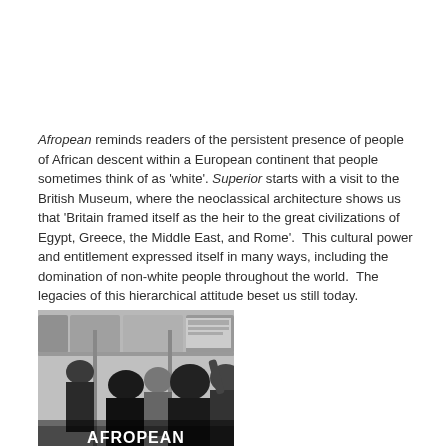Afropean reminds readers of the persistent presence of people of African descent within a European continent that people sometimes think of as 'white'. Superior starts with a visit to the British Museum, where the neoclassical architecture shows us that 'Britain framed itself as the heir to the great civilizations of Egypt, Greece, the Middle East, and Rome'.  This cultural power and entitlement expressed itself in many ways, including the domination of non-white people throughout the world.  The legacies of this hierarchical attitude beset us still today.
[Figure (photo): Black and white photograph of people on a subway/underground train, with the word AFROPEAN visible in large bold letters at the bottom of the image.]